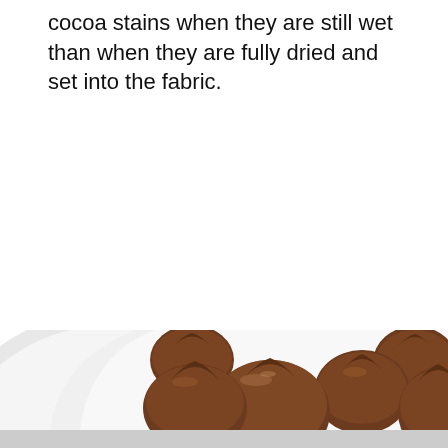cocoa stains when they are still wet than when they are fully dried and set into the fabric.
[Figure (photo): Photograph of chocolate truffles dusted with cocoa powder arranged on a white plate, with a light gray background visible at the bottom.]